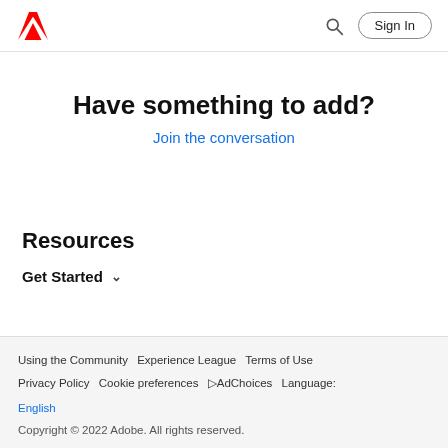Adobe logo | Search | Sign In
Have something to add?
Join the conversation
Resources
Get Started
Using the Community  Experience League  Terms of Use  Privacy Policy  Cookie preferences  ▷AdChoices  Language:  English  Copyright © 2022 Adobe. All rights reserved.